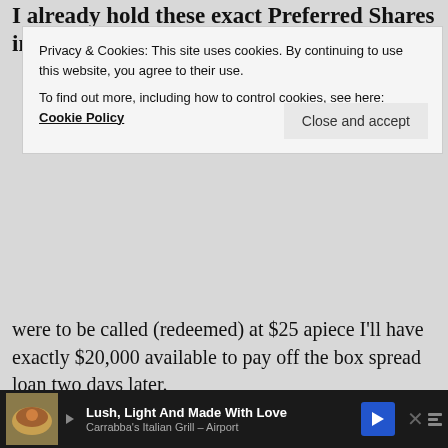I already hold these exact Preferred Shares in my IB
Privacy & Cookies: This site uses cookies. By continuing to use this website, you agree to their use.
To find out more, including how to control cookies, see here: Cookie Policy
were to be called (redeemed) at $25 apiece I'll have exactly $20,000 available to pay off the box spread loan two days later.
If the preferred shares are not called, they will then start paying a floating rate of 3.892% above the 3-month LIBOR rate, which is another widely used short-term interest rate. It's not explicitly linked to the Fed Funds Rate, but usually very close, slightly above the Fed policy rate. In perpetuity. That's a nice feature because nobody knows what the
[Figure (screenshot): Advertisement banner at bottom: Lush, Light And Made With Love - Carrabba's Italian Grill - Airport, with food image, blue directional arrow icon, and close button]